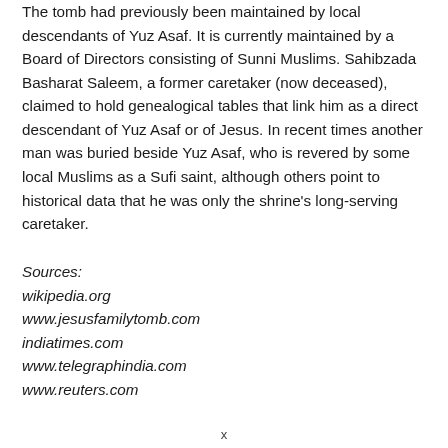The tomb had previously been maintained by local descendants of Yuz Asaf. It is currently maintained by a Board of Directors consisting of Sunni Muslims. Sahibzada Basharat Saleem, a former caretaker (now deceased), claimed to hold genealogical tables that link him as a direct descendant of Yuz Asaf or of Jesus. In recent times another man was buried beside Yuz Asaf, who is revered by some local Muslims as a Sufi saint, although others point to historical data that he was only the shrine's long-serving caretaker.
Sources:
wikipedia.org
www.jesusfamilytomb.com
indiatimes.com
www.telegraphindia.com
www.reuters.com
x